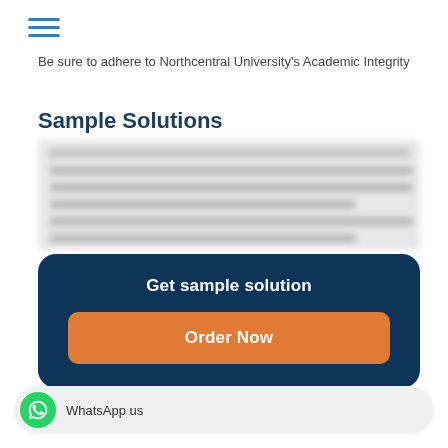☰ (hamburger menu icon)
Be sure to adhere to Northcentral University's Academic Integrity
Sample Solutions
[Figure (other): Blurred/redacted sample solution text block]
Get sample solution
Order Now
WhatsApp us